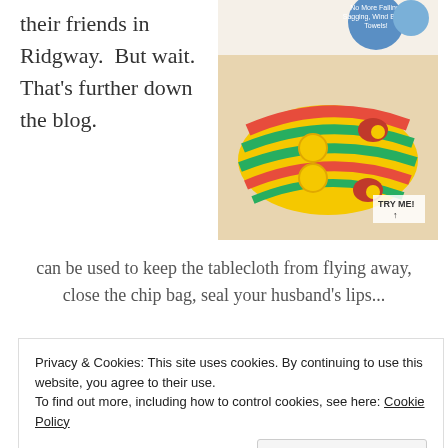their friends in Ridgway.  But wait.  That’s further down the blog.
[Figure (photo): Color photo of yellow fish-shaped towel clips on product packaging, with text 'No More Falling! Sagging, Wind Blown Towels!' and a 'Try Me!' label visible.]
can be used to keep the tablecloth from flying away, close the chip bag, seal your husband’s lips...
Privacy & Cookies: This site uses cookies. By continuing to use this website, you agree to their use.
To find out more, including how to control cookies, see here: Cookie Policy
Close and accept